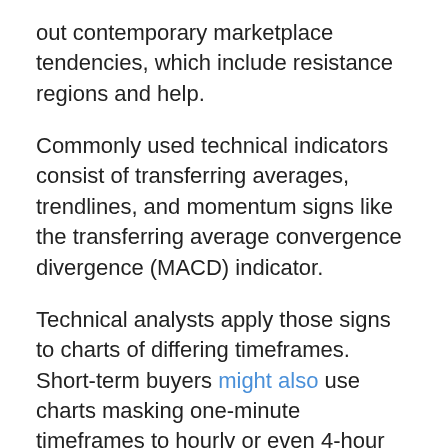out contemporary marketplace tendencies, which include resistance regions and help.
Commonly used technical indicators consist of transferring averages, trendlines, and momentum signs like the transferring average convergence divergence (MACD) indicator.
Technical analysts apply those signs to charts of differing timeframes. Short-term buyers might also use charts masking one-minute timeframes to hourly or even 4-hour timeframes, and traders analyzing extra long-time period price moves appearance over day by day, weekly or monthly charts.
Disclaimer: The views, evaluations, and facts expressed in this newsletter are those of the authors and do no longer necessarily mirror the reliable policy or position of any organization stakeholders, financial experts, or